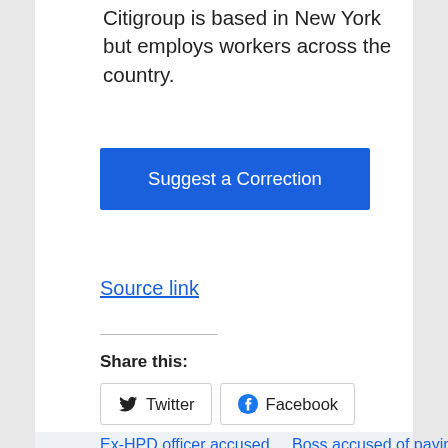Citigroup is based in New York but employs workers across the country.
Suggest a Correction
Source link
Share this:
Twitter
Facebook
Ex-HPD officer accused of killing pregnant girlfriend was fired for ‘no-call, no-show’ after arrest
HUNTSVILLE, Ala. (WHNT) – Former Huntsville Police
Boss accused of paying ex-employee with 91,000 oily pennies faces federal lawsuit
(File/Getty) (NEXSTAR) – A Georgia auto repair